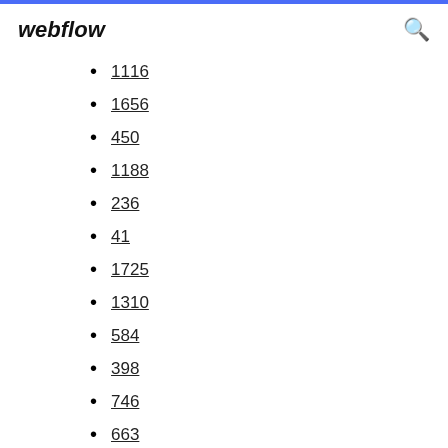webflow
1116
1656
450
1188
236
41
1725
1310
584
398
746
663